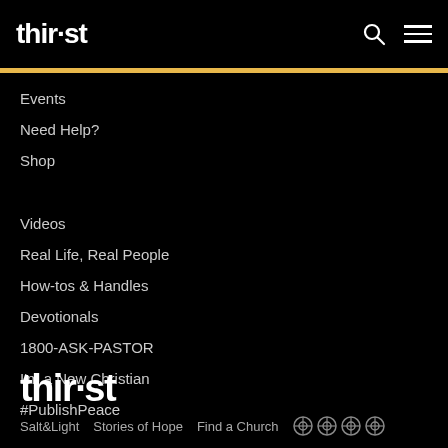thir·st
Events
Need Help?
Shop
Videos
Real Life, Real People
How-tos & Handles
Devotionals
1800-ASK-PASTOR
I'm a New Christian
#PublishPeace
thir·st   Salt&Light   Stories of Hope   Find a Church